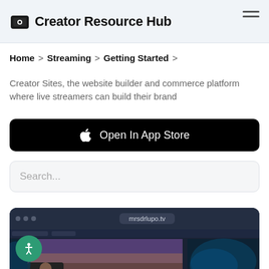Creator Resource Hub
Home > Streaming > Getting Started >
Creator Sites, the website builder and commerce platform where live streamers can build their brand
Open In App Store
Search...
[Figure (screenshot): Browser mockup showing mrsdrlupo.tv website with a live streaming interface displaying a video game scene and streamer webcam overlay]